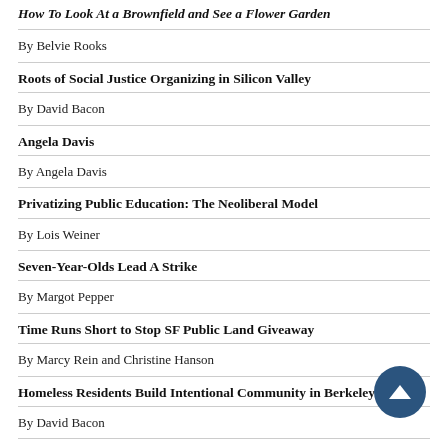How To Look At a Brownfield and See a Flower Garden
By Belvie Rooks
Roots of Social Justice Organizing in Silicon Valley
By David Bacon
Angela Davis
By Angela Davis
Privatizing Public Education: The Neoliberal Model
By Lois Weiner
Seven-Year-Olds Lead A Strike
By Margot Pepper
Time Runs Short to Stop SF Public Land Giveaway
By Marcy Rein and Christine Hanson
Homeless Residents Build Intentional Community in Berkeley
By David Bacon
Equity: The Superior Growth Model
Trouhaft, Blackwell, Pastor